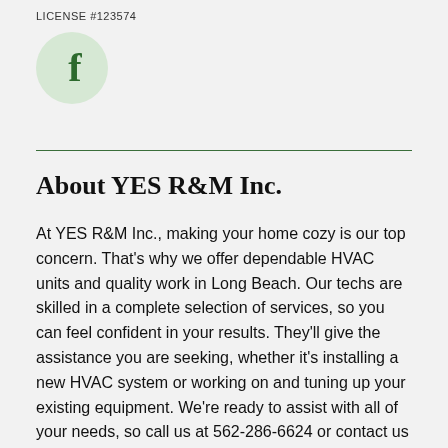LICENSE #123574
[Figure (logo): Facebook icon: light green circle with a dark green bold lowercase 'f' in the center]
About YES R&M Inc.
At YES R&M Inc., making your home cozy is our top concern. That's why we offer dependable HVAC units and quality work in Long Beach. Our techs are skilled in a complete selection of services, so you can feel confident in your results. They'll give the assistance you are seeking, whether it's installing a new HVAC system or working on and tuning up your existing equipment. We're ready to assist with all of your needs, so call us at 562-286-6624 or contact us online to get